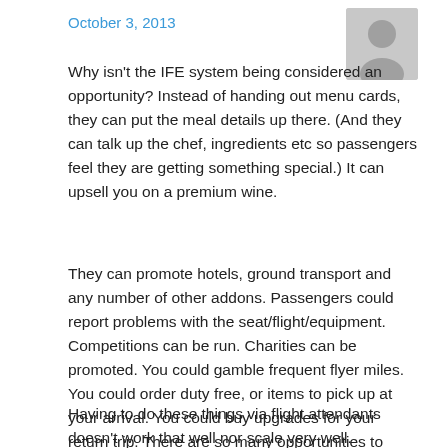October 3, 2013
[Figure (illustration): Gray placeholder avatar silhouette icon]
Why isn't the IFE system being considered an opportunity? Instead of handing out menu cards, they can put the meal details up there. (And they can talk up the chef, ingredients etc so passengers feel they are getting something special.) It can upsell you on a premium wine.
They can promote hotels, ground transport and any number of other addons. Passengers could report problems with the seat/flight/equipment. Competitions can be run. Charities can be promoted. You could gamble frequent flyer miles. You could order duty free, or items to pick up at your arrival. You could buy upgrades for your return trip. There are so many opportunities to delight the captive passenger.
Having to do these things via flight attendants doesn't work that well nor scale very well.